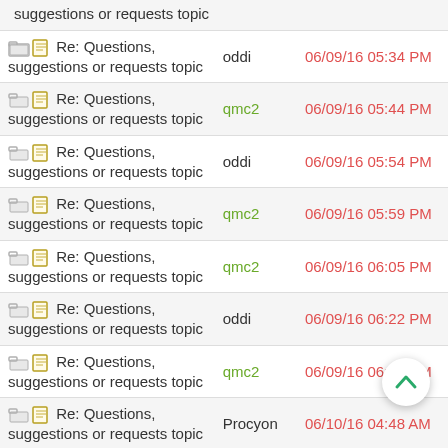| Topic | Author | Date |
| --- | --- | --- |
| suggestions or requests topic |  |  |
| Re: Questions, suggestions or requests topic | oddi | 06/09/16 05:34 PM |
| Re: Questions, suggestions or requests topic | qmc2 | 06/09/16 05:44 PM |
| Re: Questions, suggestions or requests topic | oddi | 06/09/16 05:54 PM |
| Re: Questions, suggestions or requests topic | qmc2 | 06/09/16 05:59 PM |
| Re: Questions, suggestions or requests topic | qmc2 | 06/09/16 06:05 PM |
| Re: Questions, suggestions or requests topic | oddi | 06/09/16 06:22 PM |
| Re: Questions, suggestions or requests topic | qmc2 | 06/09/16 06:48 PM |
| Re: Questions, suggestions or requests topic | Procyon | 06/10/16 04:48 AM |
| Re: Questions, suggestions or requests topic | qmc2 | 06/10/16 06:36 AM |